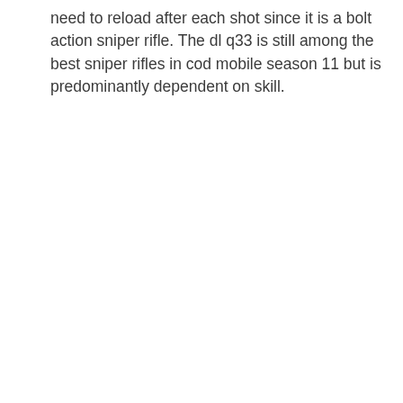need to reload after each shot since it is a bolt action sniper rifle. The dl q33 is still among the best sniper rifles in cod mobile season 11 but is predominantly dependent on skill.